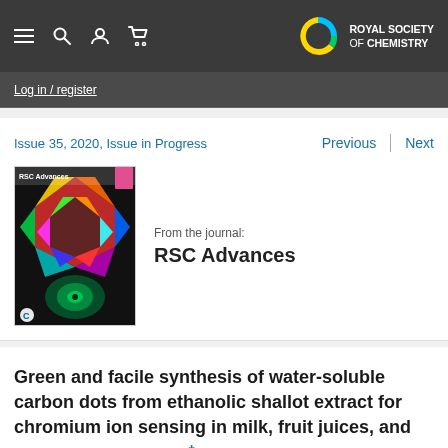Royal Society of Chemistry
Log in / register
Issue 35, 2020, Issue in Progress
[Figure (other): RSC Advances journal cover showing colorful geometric patterns]
From the journal: RSC Advances
Green and facile synthesis of water-soluble carbon dots from ethanolic shallot extract for chromium ion sensing in milk, fruit juices, and wastewater samples†
Check for updates